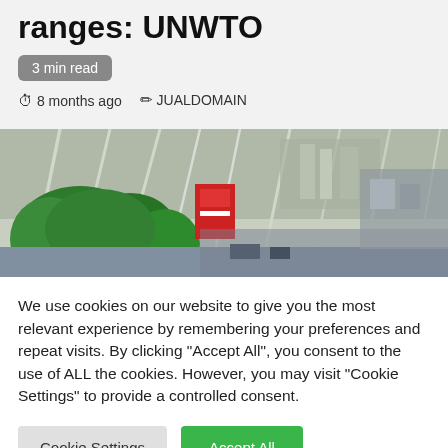ranges: UNWTO
3 min read
⏱ 8 months ago  ✏ JUALDOMAIN
[Figure (photo): Interior of a large modern airport terminal with a glass roof structure, tropical trees and plants, shops, and people in the background.]
We use cookies on our website to give you the most relevant experience by remembering your preferences and repeat visits. By clicking "Accept All", you consent to the use of ALL the cookies. However, you may visit "Cookie Settings" to provide a controlled consent.
Cookie Settings | Accept All